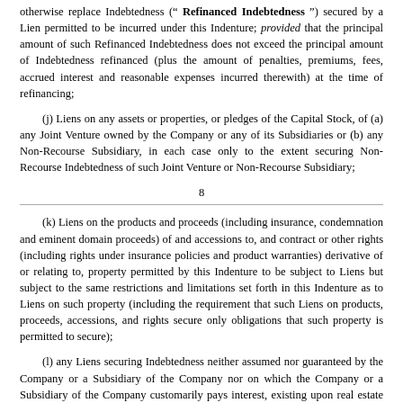otherwise replace Indebtedness (“ Refinanced Indebtedness ”) secured by a Lien permitted to be incurred under this Indenture; provided that the principal amount of such Refinanced Indebtedness does not exceed the principal amount of Indebtedness refinanced (plus the amount of penalties, premiums, fees, accrued interest and reasonable expenses incurred therewith) at the time of refinancing;
(j) Liens on any assets or properties, or pledges of the Capital Stock, of (a) any Joint Venture owned by the Company or any of its Subsidiaries or (b) any Non-Recourse Subsidiary, in each case only to the extent securing Non-Recourse Indebtedness of such Joint Venture or Non-Recourse Subsidiary;
8
(k) Liens on the products and proceeds (including insurance, condemnation and eminent domain proceeds) of and accessions to, and contract or other rights (including rights under insurance policies and product warranties) derivative of or relating to, property permitted by this Indenture to be subject to Liens but subject to the same restrictions and limitations set forth in this Indenture as to Liens on such property (including the requirement that such Liens on products, proceeds, accessions, and rights secure only obligations that such property is permitted to secure);
(l) any Liens securing Indebtedness neither assumed nor guaranteed by the Company or a Subsidiary of the Company nor on which the Company or a Subsidiary of the Company customarily pays interest, existing upon real estate or rights in or relating to real estate (including rights-of-way and easements) acquired by the Company or such Subsidiary, which mortgage Liens do not materially impair the use of such property for the purposes for which it is held